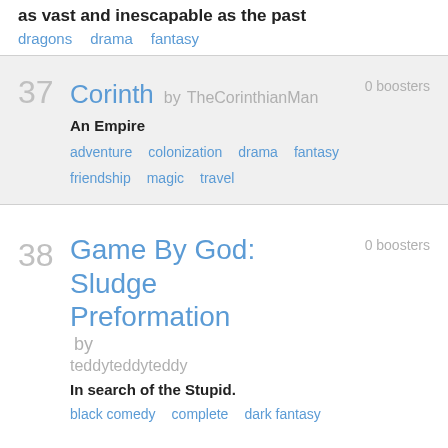as vast and inescapable as the past
dragons   drama   fantasy
37   Corinth by TheCorinthianMan   0 boosters
An Empire
adventure   colonization   drama   fantasy   friendship   magic   travel
38   Game By God: Sludge Preformation by teddyteddyteddy   0 boosters
In search of the Stupid.
black comedy   complete   dark fantasy